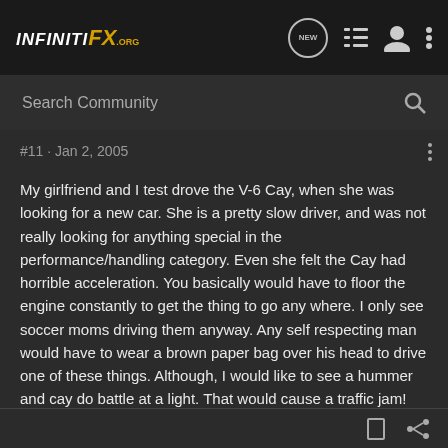INFINITI FX .org
Search Community
#11 · Jan 2, 2005
My girlfriend and I test drove the V-6 Cay, when she was looking for a new car. She is a pretty slow driver, and was not really looking for anything special in the performance/handling category. Even she felt the Cay had horrible acceleration. You basically would have to floor the engine constantly to get the thing to go any where. I only see soccer moms driving them anyway. Any self respecting man would have to wear a brown paper bag over his head to drive one of these things. Although, I would like to see a hummer and cay do battle at a light. That would cause a traffic jam!